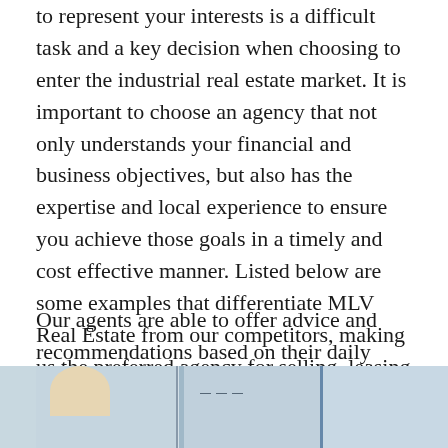to represent your interests is a difficult task and a key decision when choosing to enter the industrial real estate market. It is important to choose an agency that not only understands your financial and business objectives, but also has the expertise and local experience to ensure you achieve those goals in a timely and cost effective manner. Listed below are some examples that differentiate MLV Real Estate from our competitors, making us the preferred agency for selling, leasing or managing your industrial property.
Our agents are able to offer advice and recommendations based on their daily working knowledge of the Perth property market and an understanding of local trends and economic issues.
[Figure (photo): Partial photo strip at the bottom of the page showing people in a real estate or office context, cropped so only the lower portion is visible.]